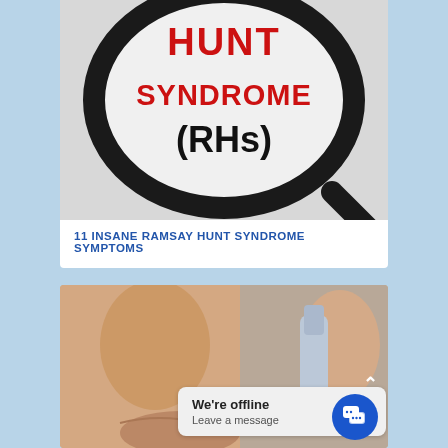[Figure (photo): Magnifying glass focusing on text that reads 'RAMSAY HUNT SYNDROME (RHS)' in red and black handwritten lettering on white paper background]
11 INSANE RAMSAY HUNT SYNDROME SYMPTOMS
[Figure (screenshot): Close-up photo of a person's face (nose and lips visible) with a hand holding an inhaler in the background. A chat popup reads 'We're offline / Leave a message' with a blue chat button icon.]